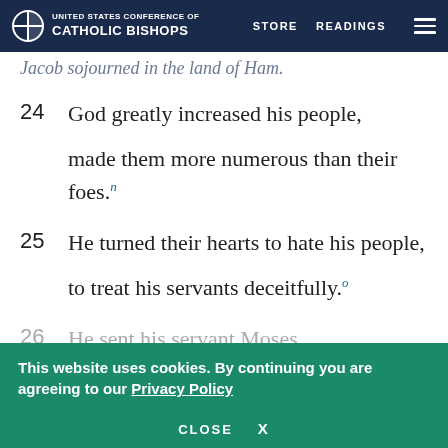UNITED STATES CONFERENCE OF CATHOLIC BISHOPS | STORE | READINGS
Jacob sojourned in the land of Ham.
24  God greatly increased his people,
    made them more numerous than their foes.[n]
25  He turned their hearts to hate his people,
    to treat his servants deceitfully.[o]
26  He sent his servant Moses,
This website uses cookies. By continuing you are agreeing to our Privacy Policy
CLOSE  X